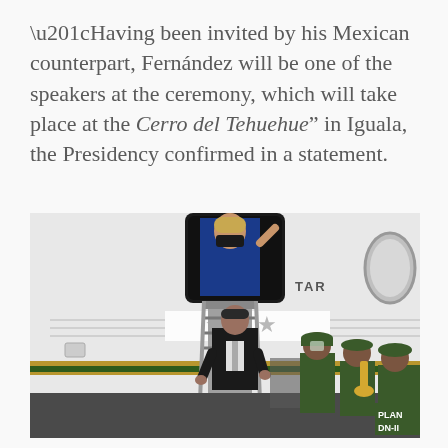“Having been invited by his Mexican counterpart, Fernández will be one of the speakers at the ceremony, which will take place at the Cerro del Tehuehue” in Iguala, the Presidency confirmed in a statement.
[Figure (photo): A photograph of a man in a dark suit descending the stairs of a white government aircraft (with green and gold livery stripe), while a woman in blue with a face mask waves from the aircraft doorway. Military personnel in green uniforms with instruments are visible on the right side of the image. The aircraft door area shows a partially visible logo or text reading 'TAR'.]